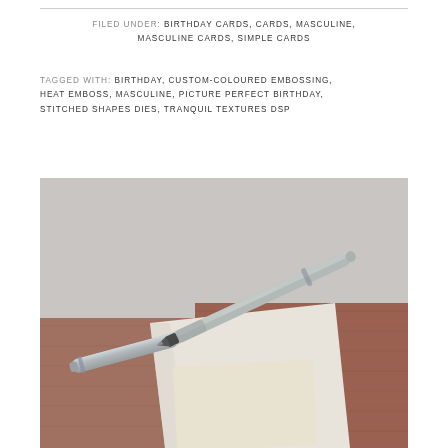FILED UNDER: BIRTHDAY CARDS, CARDS, MASCULINE, MASCULINE CARDS, SIMPLE CARDS
TAGGED WITH: BIRTHDAY, CUSTOM-COLOURED EMBOSSING, HEAT EMBOSS, MASCULINE, PICTURE PERFECT BIRTHDAY, STITCHED SHAPES DIES, TRANQUIL TEXTURES DSP
[Figure (photo): Photo of a silver fountain pen with cap removed lying on a wooden surface alongside white and cream paper cards or card blanks, on a grey background]